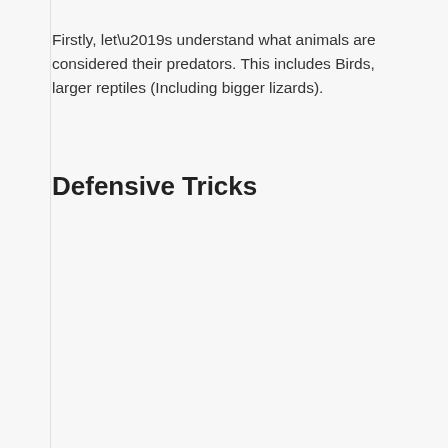Firstly, let’s understand what animals are considered their predators. This includes Birds, larger reptiles (Including bigger lizards).
Defensive Tricks